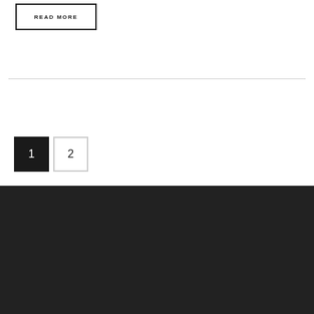READ MORE
1  2
Trevor Larkum - Co-Founder and CTO
Click here to book a scheduled call with Trevor